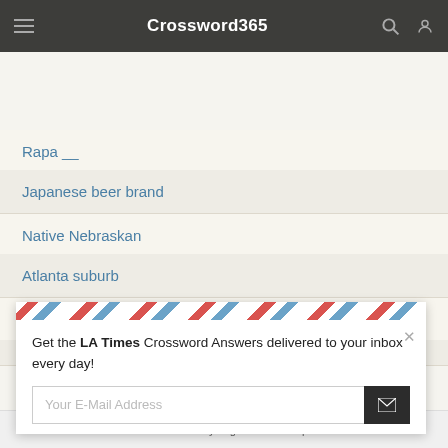Crossword365
Rapa __
Japanese beer brand
Native Nebraskan
Atlanta suburb
Complain
Itsy bitsy
Get the LA Times Crossword Answers delivered to your inbox every day!
Your E-Mail Address
This website uses cookies to ensure you get the best experience on our website